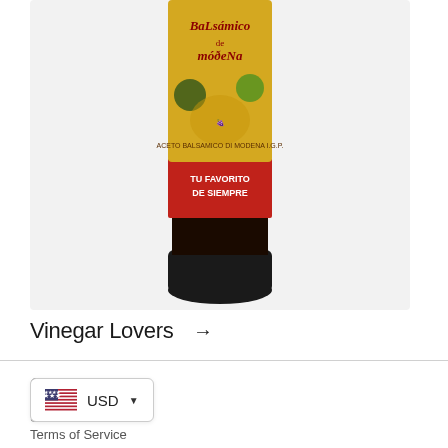[Figure (photo): A bottle of Balsamico de Modena balsamic vinegar with gold and red label and black cap, shown upside down]
Vinegar Lovers →
Quick links
Search
USD ▼
Terms of Service